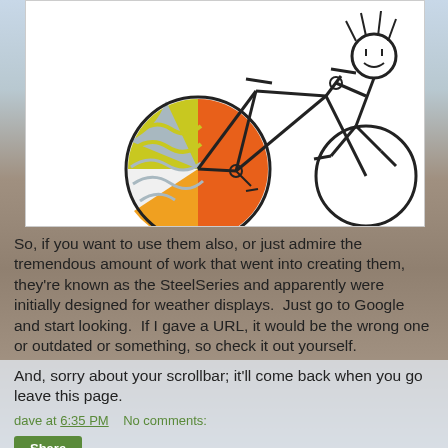[Figure (illustration): Hand-drawn style illustration of a stick figure person riding a bicycle, with a colorful pie/globe-like ball with orange, yellow, and blue-gray wave sections near the wheel.]
So, if you want to use them also, or just admire the tremendous amount of work that went into creating them, they're known as the SteelSeries and apparently were initially designed for weather displays.  Just go to Google and start looking.  If I gave a URL, it would be the wrong one or outdated or something, so check it out yourself.
And, sorry about your scrollbar; it'll come back when you go leave this page.
dave at 6:35 PM    No comments:
Share